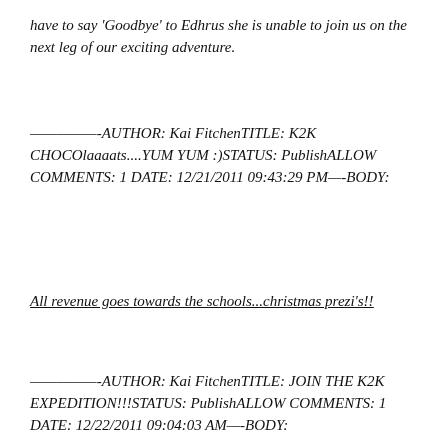have to say 'Goodbye' to Edhrus she is unable to join us on the next leg of our exciting adventure.
—————-AUTHOR: Kai FitchenTITLE: K2K CHOCOlaaaats....YUM YUM :)STATUS: PublishALLOW COMMENTS: 1 DATE: 12/21/2011 09:43:29 PM—-BODY:
All revenue goes towards the schools...christmas prezi's!!
—————-AUTHOR: Kai FitchenTITLE: JOIN THE K2K EXPEDITION!!!STATUS: PublishALLOW COMMENTS: 1 DATE: 12/22/2011 09:04:03 AM—-BODY: